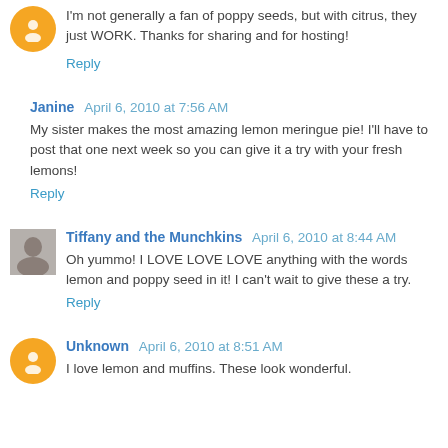I'm not generally a fan of poppy seeds, but with citrus, they just WORK. Thanks for sharing and for hosting!
Reply
Janine  April 6, 2010 at 7:56 AM
My sister makes the most amazing lemon meringue pie! I'll have to post that one next week so you can give it a try with your fresh lemons!
Reply
Tiffany and the Munchkins  April 6, 2010 at 8:44 AM
Oh yummo! I LOVE LOVE LOVE anything with the words lemon and poppy seed in it! I can't wait to give these a try.
Reply
Unknown  April 6, 2010 at 8:51 AM
I love lemon and muffins. These look wonderful.